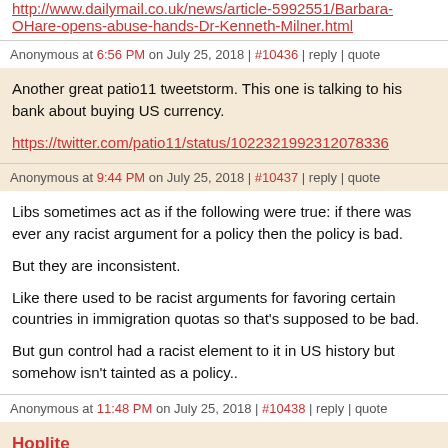http://www.dailymail.co.uk/news/article-5992551/Barbara-OHare-opens-abuse-hands-Dr-Kenneth-Milner.html
Anonymous at 6:56 PM on July 25, 2018 | #10436 | reply | quote
Another great patio11 tweetstorm. This one is talking to his bank about buying US currency.
https://twitter.com/patio11/status/1022321992312078336
Anonymous at 9:44 PM on July 25, 2018 | #10437 | reply | quote
Libs sometimes act as if the following were true: if there was ever any racist argument for a policy then the policy is bad.

But they are inconsistent.

Like there used to be racist arguments for favoring certain countries in immigration quotas so that's supposed to be bad.

But gun control had a racist element to it in US history but somehow isn't tainted as a policy..
Anonymous at 11:48 PM on July 25, 2018 | #10438 | reply | quote
Hoplite
http://www.magnofortress.com/p/hoplite.html